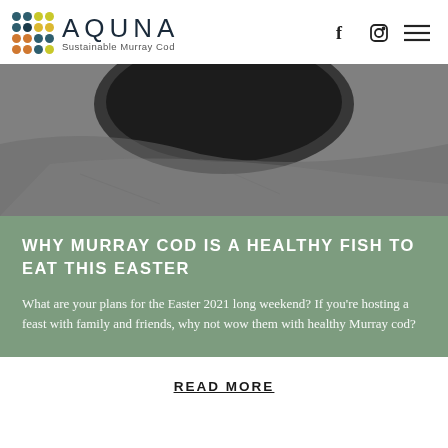AQUUNA Sustainable Murray Cod
[Figure (photo): Dark moody overhead photo of a cast iron pan on a stone surface, grey tones]
WHY MURRAY COD IS A HEALTHY FISH TO EAT THIS EASTER
What are your plans for the Easter 2021 long weekend? If you're hosting a feast with family and friends, why not wow them with healthy Murray cod?
READ MORE